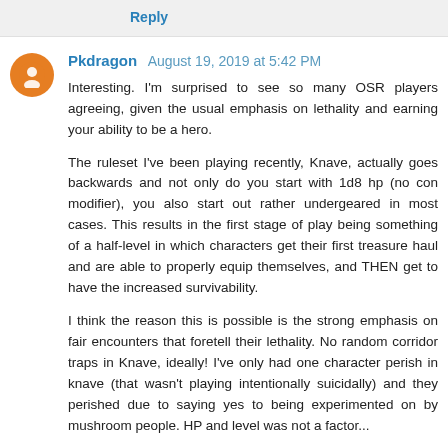Reply
Pkdragon  August 19, 2019 at 5:42 PM
Interesting. I'm surprised to see so many OSR players agreeing, given the usual emphasis on lethality and earning your ability to be a hero.
The ruleset I've been playing recently, Knave, actually goes backwards and not only do you start with 1d8 hp (no con modifier), you also start out rather undergeared in most cases. This results in the first stage of play being something of a half-level in which characters get their first treasure haul and are able to properly equip themselves, and THEN get to have the increased survivability.
I think the reason this is possible is the strong emphasis on fair encounters that foretell their lethality. No random corridor traps in Knave, ideally! I've only had one character perish in knave (that wasn't playing intentionally suicidally) and they perished due to saying yes to being experimented on by mushroom people. HP and level was not a factor...